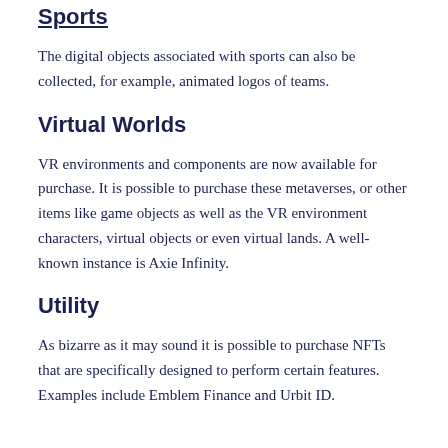Sports
The digital objects associated with sports can also be collected, for example, animated logos of teams.
Virtual Worlds
VR environments and components are now available for purchase. It is possible to purchase these metaverses, or other items like game objects as well as the VR environment characters, virtual objects or even virtual lands. A well-known instance is Axie Infinity.
Utility
As bizarre as it may sound it is possible to purchase NFTs that are specifically designed to perform certain features. Examples include Emblem Finance and Urbit ID.